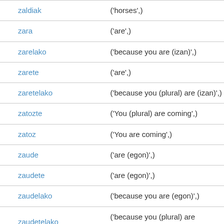| zaldiak | ('horses',) |
| zara | ('are',) |
| zarelako | ('because you are (izan)',) |
| zarete | ('are',) |
| zaretelako | ('because you (plural) are (izan)',) |
| zatozte | ('You (plural) are coming',) |
| zatoz | ('You are coming',) |
| zaude | ('are (egon)',) |
| zaudete | ('are (egon)',) |
| zaudelako | ('because you are (egon)',) |
| zaudetelako | ('because you (plural) are (egon)',) |